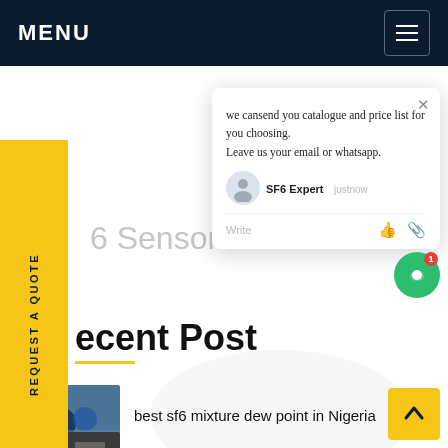MENU
REQUEST A QUOTE
we cansend you catalogue and price list for you choosing.
Leave us your email or whatsapp.
SF6 Expert   justnow
Write
6 Sensor
ecent Post
best sf6 mixture dew point in Nigeria
ge sulfur hexafluoride End of Life Services